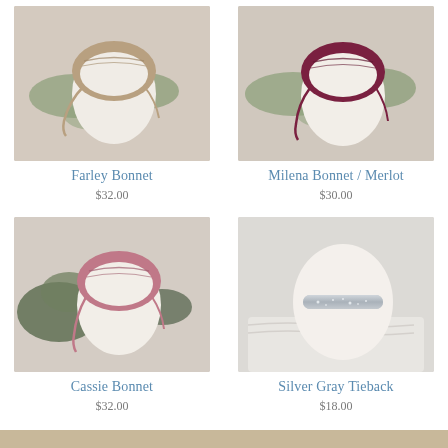[Figure (photo): Farley Bonnet - tan/beige knitted newborn bonnet on a white egg-shaped prop with green eucalyptus leaves, warm beige background]
Farley Bonnet
$32.00
[Figure (photo): Milena Bonnet / Merlot - deep burgundy/merlot colored knitted newborn bonnet on a white egg-shaped prop with green eucalyptus leaves, light beige background]
Milena Bonnet / Merlot
$30.00
[Figure (photo): Cassie Bonnet - dusty pink/mauve knitted newborn bonnet on a white egg-shaped prop with green succulent leaves, light background]
Cassie Bonnet
$32.00
[Figure (photo): Silver Gray Tieback - silver/gray sparkly headband tieback on a white egg-shaped prop with white knit fabric, light gray background]
Silver Gray Tieback
$18.00